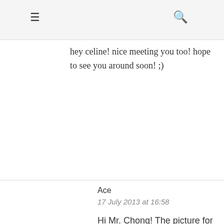☰  🔍
hey celine! nice meeting you too! hope to see you around soon! ;)
Reply
Ace
17 July 2013 at 16:58
Hi Mr. Chong! The picture for "Deep-fried prawn rolls (Hei Zhou) from China Street Fritters (S$1/each)" is actually a prawn thingy from BEE HEONG PALACE, sorry that I couldn't remember the